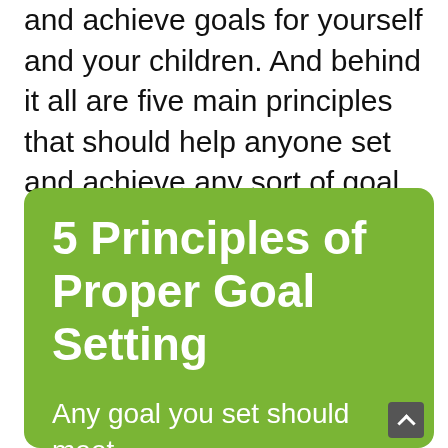and achieve goals for yourself and your children. And behind it all are five main principles that should help anyone set and achieve any sort of goal they want.
[Figure (infographic): Green rounded rectangle box containing bold white title '5 Principles of Proper Goal Setting' and white subtitle text 'Any goal you set should meet the following criteria...']